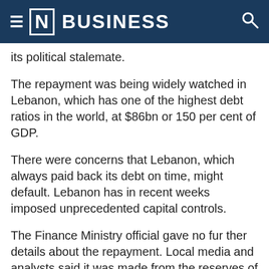[N] BUSINESS
its political stalemate.
The repayment was being widely watched in Lebanon, which has one of the highest debt ratios in the world, at $86bn or 150 per cent of GDP.
There were concerns that Lebanon, which always paid back its debt on time, might default. Lebanon has in recent weeks imposed unprecedented capital controls.
The Finance Ministry official gave no further details about the repayment. Local media and analysts said it was made from the reserves of the Central Bank.